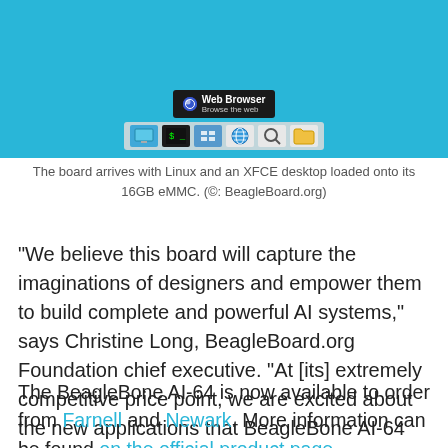[Figure (screenshot): Screenshot of an XFCE desktop environment showing a taskbar with a Web Browser tooltip visible. The background is light blue/cyan. The taskbar shows icons for file manager, terminal, settings, web browser, search, and files.]
The board arrives with Linux and an XFCE desktop loaded onto its 16GB eMMC. (©: BeagleBoard.org)
"We believe this board will capture the imaginations of designers and empower them to build complete and powerful AI systems," says Christine Long, BeagleBoard.org Foundation chief executive. "At [its] extremely competitive price point, we are excited about the new applications that BeagleBone AI-64 will enable for new and experienced users."
The BeagleBone AI-64 is now available to order from Farnell and Newark. More information can be found on the official product page.